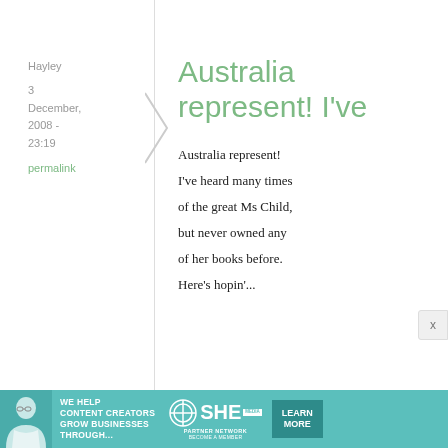Hayley
3 December, 2008 - 23:19
permalink
Australia represent! I've
Australia represent! I've heard many times of the great Ms Child, but never owned any of her books before. Here's hopin'...
[Figure (infographic): SHE Media advertisement banner: 'We help content creators grow businesses through...' with SHE Partner Network logo and Learn More button]